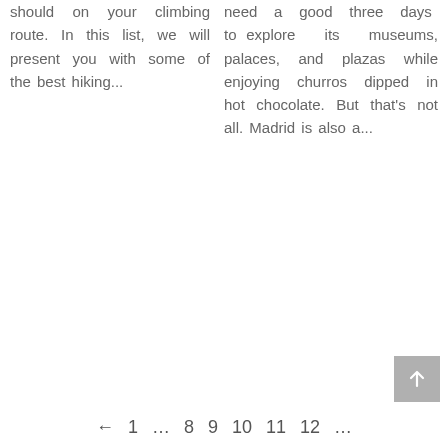should on your climbing route. In this list, we will present you with some of the best hiking...
need a good three days to explore its museums, palaces, and plazas while enjoying churros dipped in hot chocolate. But that's not all. Madrid is also a...
← 1 … 8 9 10 11 12 …